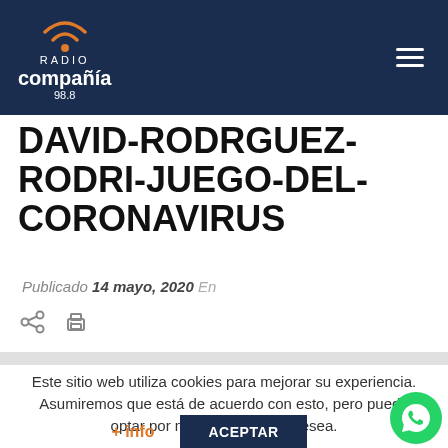Radio Compañía 98.8 — navigation header
DAVID-RODRGUEZ-RODRI-JUEGO-DEL-CORONAVIRUS
Publicado 14 mayo, 2020  En
Este sitio web utiliza cookies para mejorar su experiencia. Asumiremos que está de acuerdo con esto, pero puede optar por no participar si lo desea.
+ info   ACEPTAR